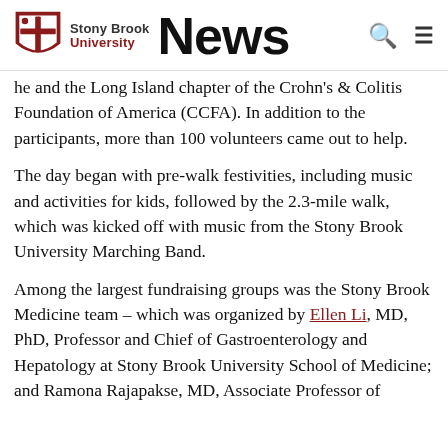Stony Brook University News
he and the Long Island chapter of the Crohn's & Colitis Foundation of America (CCFA). In addition to the participants, more than 100 volunteers came out to help.
The day began with pre-walk festivities, including music and activities for kids, followed by the 2.3-mile walk, which was kicked off with music from the Stony Brook University Marching Band.
Among the largest fundraising groups was the Stony Brook Medicine team – which was organized by Ellen Li, MD, PhD, Professor and Chief of Gastroenterology and Hepatology at Stony Brook University School of Medicine; and Ramona Rajapakse, MD, Associate Professor of